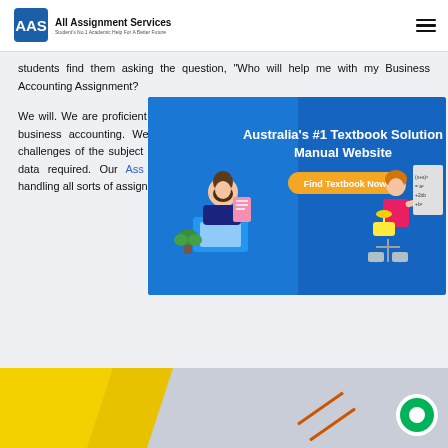All Assignment Services — Student's No.1 Academic Help For A Better Future
Students find them asking the question, "Who will help me with my Business Accounting Assignment?"
We will. We are proficient in all the technical aspects of business accounting. We address the most common challenges of the subject area and double-check all the data required. Our Assignment Help experts with us experience handling all sorts of assignments at a
[Figure (screenshot): Advertisement banner for Australia's #1 Textbook Solution Manual Website with a 'Find Textbook Now' button and illustrations of a student and teacher]